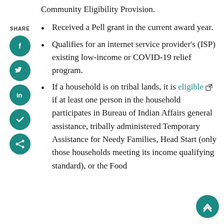Community Eligibility Provision.
[Figure (infographic): SHARE sidebar with social media icons: Facebook, Twitter, LinkedIn, bookmark/check, and share button — all teal circular icons]
Received a Pell grant in the current award year.
Qualifies for an internet service provider's (ISP) existing low-income or COVID-19 relief program.
If a household is on tribal lands, it is eligible [external link] if at least one person in the household participates in Bureau of Indian Affairs general assistance, tribally administered Temporary Assistance for Needy Families, Head Start (only those households meeting its income qualifying standard), or the Food